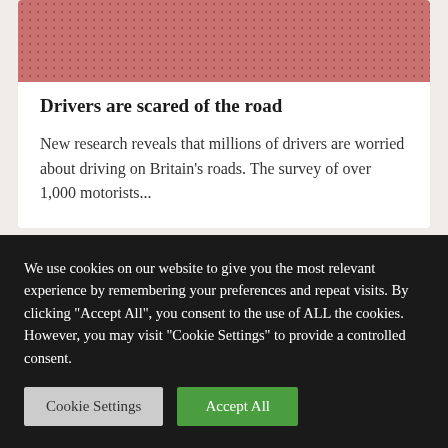[Figure (photo): Red/pink dotted pattern background image for article card]
Drivers are scared of the road
New research reveals that millions of drivers are worried about driving on Britain's roads. The survey of over 1,000 motorists...
We use cookies on our website to give you the most relevant experience by remembering your preferences and repeat visits. By clicking "Accept All", you consent to the use of ALL the cookies. However, you may visit "Cookie Settings" to provide a controlled consent.